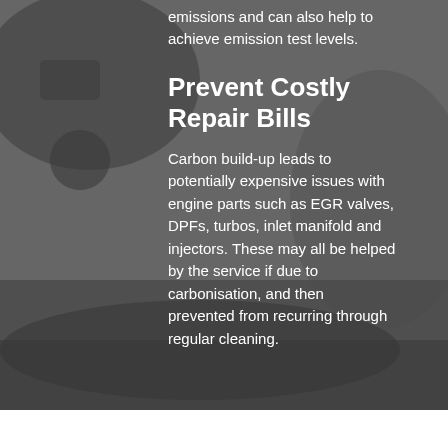significantly reduces harmful emissions and can also help to achieve emission test levels.
Prevent Costly Repair Bills
Carbon build-up leads to potentially expensive issues with engine parts such as EGR valves, DPFs, turbos, inlet manifold and injectors. These may all be helped by the service if due to carbonisation, and then prevented from recurring through regular cleaning.
[Figure (photo): Dark grey background showing a car engine/automotive component, partially visible, with textured dark surface in the foreground.]